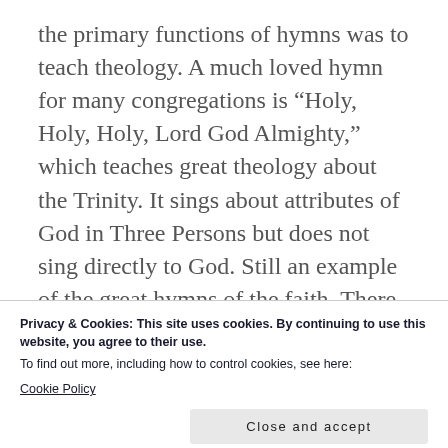the primary functions of hymns was to teach theology. A much loved hymn for many congregations is “Holy, Holy, Holy, Lord God Almighty,” which teaches great theology about the Trinity. It sings about attributes of God in Three Persons but does not sing directly to God. Still an example of the great hymns of the faith. There are also numerous others. I don’t think these make for a few exceptions to your generalization, but rather, are common to hymnody
Privacy & Cookies: This site uses cookies. By continuing to use this website, you agree to their use.
To find out more, including how to control cookies, see here:
Cookie Policy
Close and accept
true, but fortunately there are modern writers